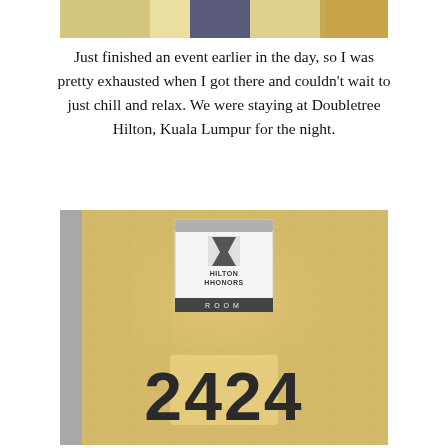[Figure (photo): Top portion of a photo showing a person and colorful background, cropped at the top of the page]
Just finished an event earlier in the day, so I was pretty exhausted when I got there and couldn't wait to just chill and relax. We were staying at Doubletree Hilton, Kuala Lumpur for the night.
[Figure (photo): Photo of a hotel room door panel showing the Hilton HHonors logo and room number 2424 on a wood-textured wall]